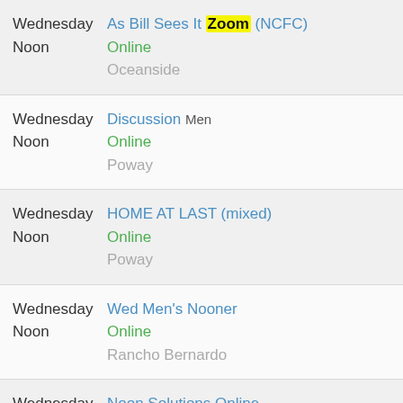Wednesday Noon | As Bill Sees It Zoom (NCFC) | Online | Oceanside
Wednesday Noon | Discussion Men | Online | Poway
Wednesday Noon | HOME AT LAST (mixed) | Online | Poway
Wednesday Noon | Wed Men's Nooner | Online | Rancho Bernardo
Wednesday Noon | Noon Solutions Online | Noon Solutions Online | Online | Vista